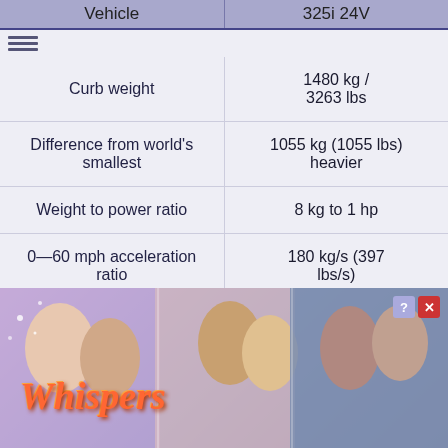| Vehicle | 325i 24V |
| --- | --- |
| Curb weight | 1480 kg / 3263 lbs |
| Difference from world's smallest | 1055 kg (1055 lbs) heavier |
| Weight to power ratio | 8 kg to 1 hp |
| 0—60 mph acceleration ratio | 180 kg/s (397 lbs/s) |
| Consumption ratio | 164 kg/l |
[Figure (screenshot): Advertisement overlay for 'Whispers' mobile game showing romantic imagery]